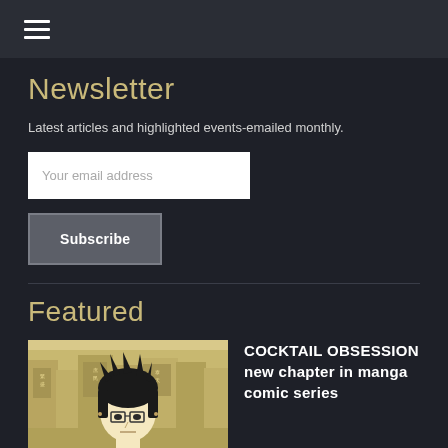[Navigation menu icon]
Newsletter
Latest articles and highlighted events-emailed monthly.
Your email address
Subscribe
Featured
[Figure (illustration): Manga-style illustration of a young man with spiky black hair and glasses, set against an Asian city street background with signs in Chinese characters]
COCKTAIL OBSESSION new chapter in manga comic series